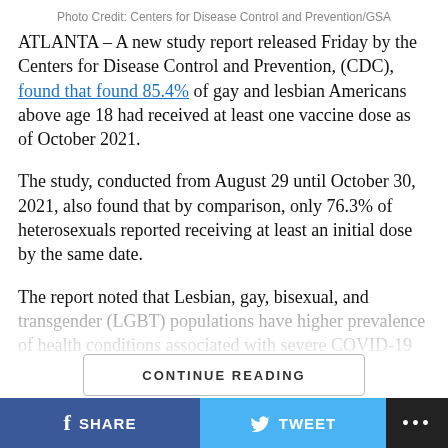Photo Credit: Centers for Disease Control and Prevention/GSA
ATLANTA – A new study report released Friday by the Centers for Disease Control and Prevention, (CDC), found that found 85.4% of gay and lesbian Americans above age 18 had received at least one vaccine dose as of October 2021.
The study, conducted from August 29 until October 30, 2021, also found that by comparison, only 76.3% of heterosexuals reported receiving at least an initial dose by the same date.
The report noted that Lesbian, gay, bisexual, and transgender (LGBT) populations have higher prevalence of health conditions associated with severe COVID-19
SHARE   TWEET   ...